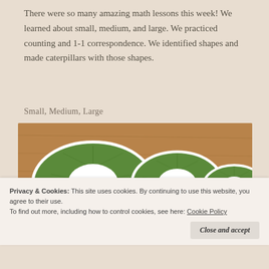There were so many amazing math lessons this week! We learned about small, medium, and large. We practiced counting and 1-1 correspondence. We identified shapes and made caterpillars with those shapes.
Small, Medium, Large
[Figure (photo): Three leaf-shaped cutouts on a wooden surface, labeled large, medium, and small from left to right. Each leaf has a white oval hole cut out of the center.]
Privacy & Cookies: This site uses cookies. By continuing to use this website, you agree to their use.
To find out more, including how to control cookies, see here: Cookie Policy
Close and accept